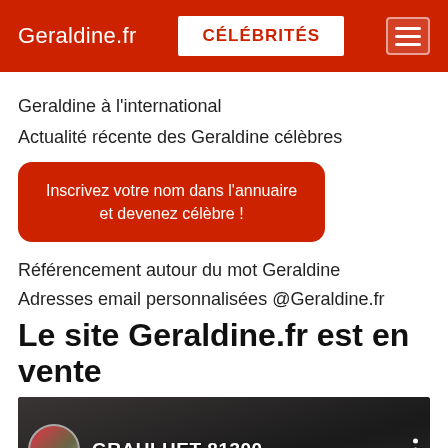Geraldine.fr — CÉLÉBRITÉS — [menu]
Geraldine à l'international
Actualité récente des Geraldine célèbres
Inscrivez votre nom dans l'annuaire et devenez célèbre !
Référencement autour du mot Geraldine
Adresses email personnalisées @Geraldine.fr
Le site Geraldine.fr est en vente
[Figure (screenshot): Video thumbnail of a market scene from GRAULHET 81300 with a circular avatar on the left, text label in white, and three-dot menu icon on the right.]